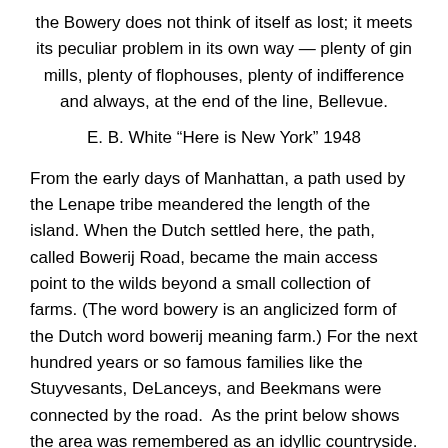the Bowery does not think of itself as lost; it meets its peculiar problem in its own way — plenty of gin mills, plenty of flophouses, plenty of indifference and always, at the end of the line, Bellevue.
E. B. White “Here is New York” 1948
From the early days of Manhattan, a path used by the Lenape tribe meandered the length of the island. When the Dutch settled here, the path, called Bowerij Road, became the main access point to the wilds beyond a small collection of farms. (The word bowery is an anglicized form of the Dutch word bowerij meaning farm.) For the next hundred years or so famous families like the Stuyvesants, DeLanceys, and Beekmans were connected by the road.  As the print below shows the area was remembered as an idyllic countryside.